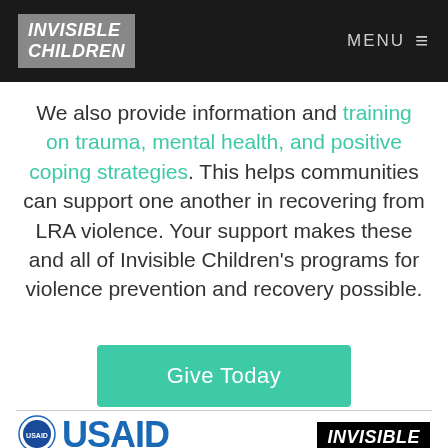INVISIBLE CHILDREN | MENU
We also provide information and training on trauma, mental health, and positive coping strategies. This helps communities can support one another in recovering from LRA violence. Your support makes these and all of Invisible Children's programs for violence prevention and recovery possible.
[Figure (other): Green 'Give Today' call-to-action button]
[Figure (logo): USAID logo with circular seal and blue text]
[Figure (logo): Invisible Children logo in white italic text on black background]